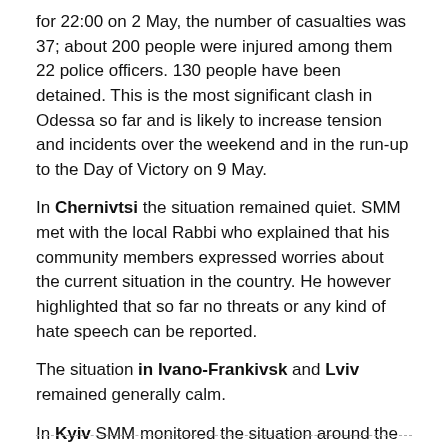for 22:00 on 2 May, the number of casualties was 37; about 200 people were injured among them 22 police officers. 130 people have been detained. This is the most significant clash in Odessa so far and is likely to increase tension and incidents over the weekend and in the run-up to the Day of Victory on 9 May.
In Chernivtsi the situation remained quiet. SMM met with the local Rabbi who explained that his community members expressed worries about the current situation in the country. He however highlighted that so far no threats or any kind of hate speech can be reported.
The situation in Ivano-Frankivsk and Lviv remained generally calm.
In Kyiv SMM monitored the situation around the Parliament of Ukraine and the Government Administration. No unusual activities have been observed.